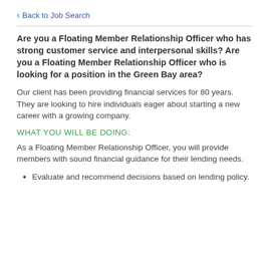Back to Job Search
Are you a Floating Member Relationship Officer who has strong customer service and interpersonal skills? Are you a Floating Member Relationship Officer who is looking for a position in the Green Bay area?
Our client has been providing financial services for 80 years. They are looking to hire individuals eager about starting a new career with a growing company.
WHAT YOU WILL BE DOING:
As a Floating Member Relationship Officer, you will provide members with sound financial guidance for their lending needs.
Evaluate and recommend decisions based on lending policy.